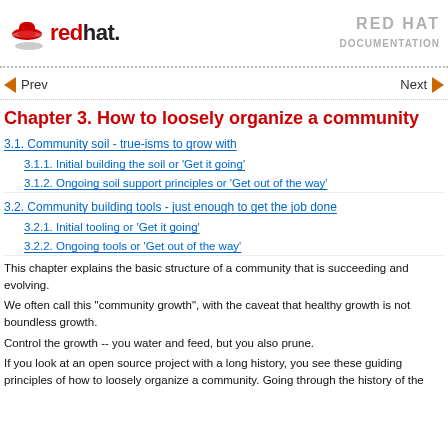Red Hat Documentation
Prev   Next
Chapter 3. How to loosely organize a community
3.1. Community soil - true-isms to grow with
3.1.1. Initial building the soil or 'Get it going'
3.1.2. Ongoing soil support principles or 'Get out of the way'
3.2. Community building tools - just enough to get the job done
3.2.1. Initial tooling or 'Get it going'
3.2.2. Ongoing tools or 'Get out of the way'
This chapter explains the basic structure of a community that is succeeding and evolving.
We often call this "community growth", with the caveat that healthy growth is not boundless growth.
Control the growth -- you water and feed, but you also prune.
If you look at an open source project with a long history, you see these guiding principles of how to loosely organize a community. Going through the history of the